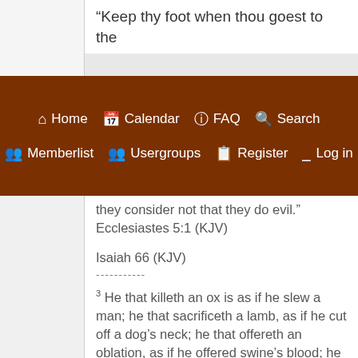“Keep thy foot when thou goest to the
Home  Calendar  FAQ  Search  Memberlist  Usergroups  Register  Log in
they consider not that they do evil.” Ecclesiastes 5:1 (KJV)
Isaiah 66 (KJV)
-----------
³ He that killeth an ox is as if he slew a man; he that sacrificeth a lamb, as if he cut off a dog’s neck; he that offereth an oblation, as if he offered swine’s blood; he that burneth incense, as if he